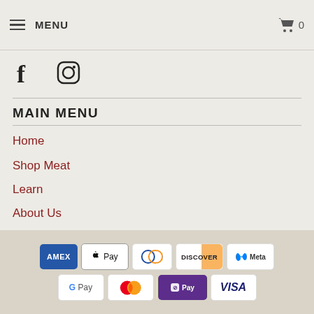MENU
questions or comments about our website or product offering. Simply contact us online!
[Figure (illustration): Facebook and Instagram social media icons]
MAIN MENU
Home
Shop Meat
Learn
About Us
[Figure (logo): Payment method logos: AMEX, Apple Pay, Diners Club, Discover, Meta, Google Pay, Mastercard, Shopify Pay, VISA]